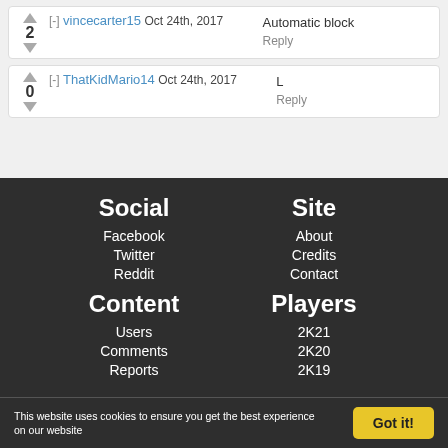▲ [-] vincecarter15 Oct 24th, 2017
2 Automatic block
▼ Reply
▲ [-] ThatKidMario14 Oct 24th, 2017
0 L
▼ Reply
Social
Facebook
Twitter
Reddit
Content
Users
Comments
Reports
Site
About
Credits
Contact
Players
2K21
2K20
2K19
This website uses cookies to ensure you get the best experience on our website   Got it!